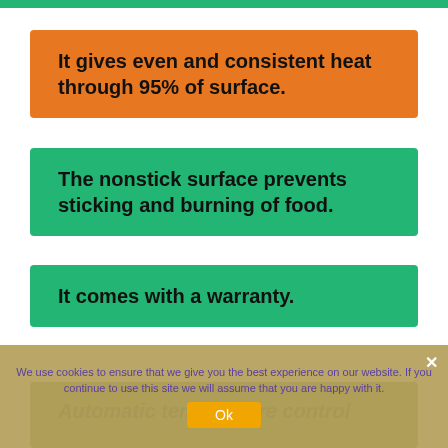It gives even and consistent heat through 95% of surface.
The nonstick surface prevents sticking and burning of food.
It comes with a warranty.
We use cookies to ensure that we give you the best experience on our website. If you continue to use this site we will assume that you are happy with it.
Automatic temperature control